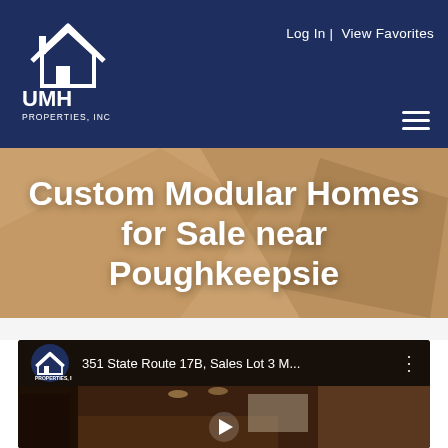Log In | View Favorites
[Figure (logo): UMH Properties Inc logo — white house/arrow icon above UMH text, PROPERTIES, INC subtitle, on dark navy background]
Custom Modular Homes for Sale near Poughkeepsie
[Figure (screenshot): YouTube video thumbnail for '351 State Route 17B, Sales Lot 3 M...' showing interior kitchen of a modular home with dark wood cabinets, stainless appliances, pendant lights, and a play button overlay. UMH Properties logo shown in top left of video player.]